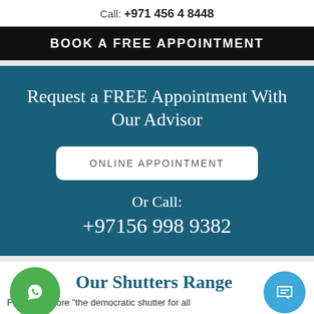Call: +971 456 4 8448
BOOK A FREE APPOINTMENT
Request a FREE Appointment With Our Advisor
ONLINE APPOINTMENT
Or Call:
+97156 998 9382
Our Shutters Range
From Woodlore "the democratic shutter for all